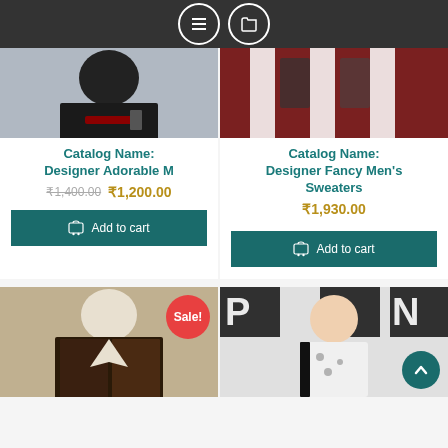Navigation icons (list and folder)
[Figure (photo): Product image of men's fashion top - left card]
Catalog Name: Designer Adorable M
₹1,400.00  ₹1,200.00
Add to cart
[Figure (photo): Product image of men's dark red sweater - right card]
Catalog Name: Designer Fancy Men's Sweaters
₹1,930.00
Add to cart
[Figure (photo): Product image of men's blazer with Sale badge - bottom left]
[Figure (photo): Product image of men's printed jacket - bottom right]